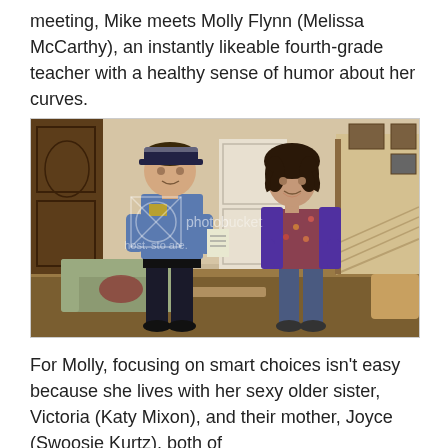meeting, Mike meets Molly Flynn (Melissa McCarthy), an instantly likeable fourth-grade teacher with a healthy sense of humor about her curves.
[Figure (photo): A TV show scene showing a heavyset male police officer in blue uniform and cap holding a notepad, talking to a curly-haired woman in a floral top and purple cardigan, standing in a living room interior. A Photobucket watermark is overlaid on the image.]
For Molly, focusing on smart choices isn't easy because she lives with her sexy older sister, Victoria (Katy Mixon), and their mother, Joyce (Swoosie Kurtz), both of